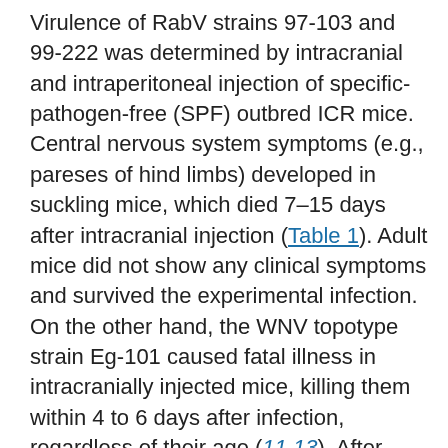Virulence of RabV strains 97-103 and 99-222 was determined by intracranial and intraperitoneal injection of specific-pathogen-free (SPF) outbred ICR mice. Central nervous system symptoms (e.g., pareses of hind limbs) developed in suckling mice, which died 7–15 days after intracranial injection (Table 1). Adult mice did not show any clinical symptoms and survived the experimental infection. On the other hand, the WNV topotype strain Eg-101 caused fatal illness in intracranially injected mice, killing them within 4 to 6 days after infection, regardless of their age (11,13). After intraperitoneal injection, strain Eg-101 killed all suckling mice but a <10% of adult mice; RabV strains 97-103 and 99-222 killed approximately one third of suckling mice, and the average survival time was 11 days (range 10–14 days). Thus, both Rabensburg virus strains exhibit clearly lower virulence for mice than the Egyptian